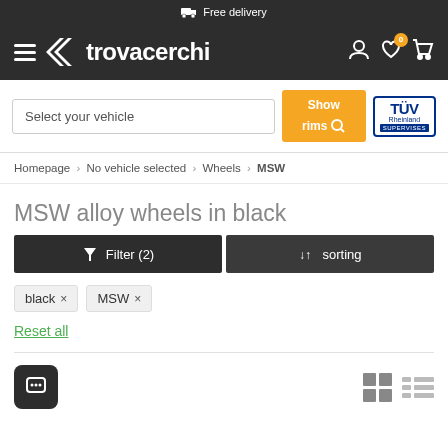Free delivery
[Figure (logo): Trovacerchi logo with hamburger menu, user icon, heart icon with badge 0, cart icon]
[Figure (screenshot): Search bar with 'Select your vehicle' placeholder, orange 'Show rims' button with magnifying glass icon, and TÜV Rheinland SUPERVISES badge]
Homepage › No vehicle selected › Wheels › MSW
MSW alloy wheels in black
Filter (2)   sorting
black ×
MSW ×
Reset all